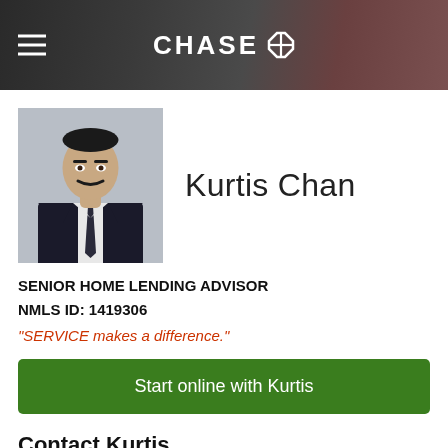CHASE
[Figure (photo): Professional headshot of Kurtis Chan wearing a dark suit and tie against a gray background]
Kurtis Chan
SENIOR HOME LENDING ADVISOR
NMLS ID: 1419306
"SERVICE makes a difference."
Start online with Kurtis
Contact Kurtis